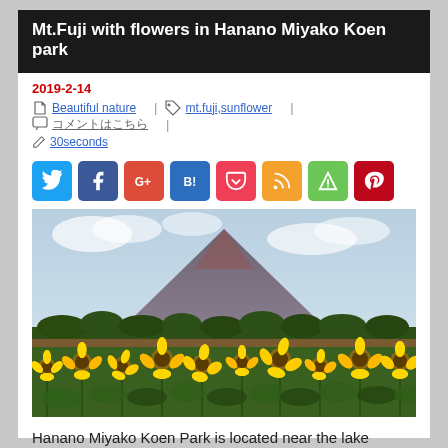Mt.Fuji with flowers in Hanano Miyako Koen park
2019-2-14
Beautiful nature | mt.fuji, sunflower | コメントはこちら | 30seconds
[Figure (infographic): Social share buttons: Twitter, Facebook, Google+, Hatena Bookmark, Pocket, RSS, Feedly, Pinterest]
[Figure (photo): Mt. Fuji volcano with a field of yellow sunflowers in the foreground, trees in the middle ground, under a partly cloudy sky.]
Hanano Miyako Koen Park is located near the lake